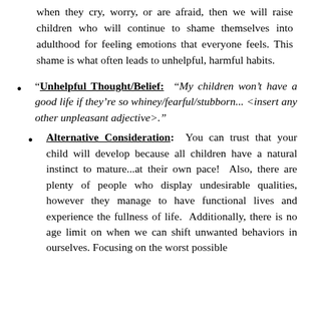when they cry, worry, or are afraid, then we will raise children who will continue to shame themselves into adulthood for feeling emotions that everyone feels. This shame is what often leads to unhelpful, harmful habits.
“Unhelpful Thought/Belief: “My children won’t have a good life if they’re so whiney/fearful/stubborn... <insert any other unpleasant adjective>.”
Alternative Consideration: You can trust that your child will develop because all children have a natural instinct to mature...at their own pace! Also, there are plenty of people who display undesirable qualities, however they manage to have functional lives and experience the fullness of life. Additionally, there is no age limit on when we can shift unwanted behaviors in ourselves. Focusing on the worst possible